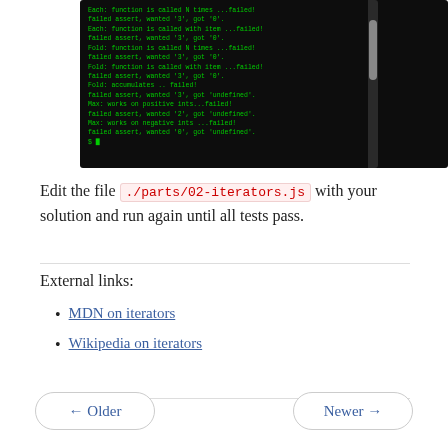[Figure (screenshot): Terminal output showing failed test assertions for Each, Fold, and Max functions in green text on black background]
Edit the file ./parts/02-iterators.js with your solution and run again until all tests pass.
External links:
MDN on iterators
Wikipedia on iterators